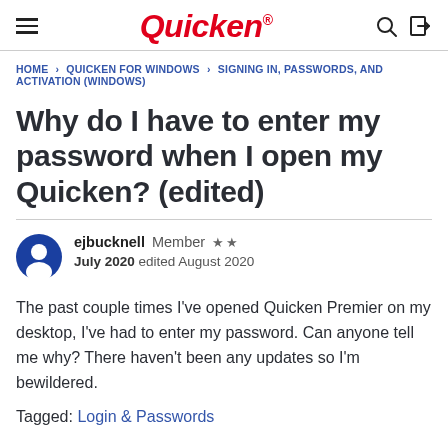Quicken
HOME › QUICKEN FOR WINDOWS › SIGNING IN, PASSWORDS, AND ACTIVATION (WINDOWS)
Why do I have to enter my password when I open my Quicken? (edited)
ejbucknell  Member  ★★
July 2020  edited August 2020
The past couple times I've opened Quicken Premier on my desktop, I've had to enter my password. Can anyone tell me why? There haven't been any updates so I'm bewildered.
Tagged: Login & Passwords